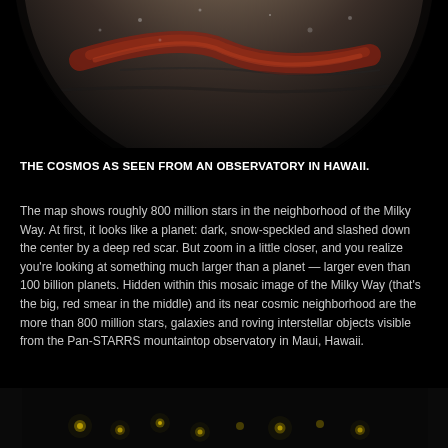[Figure (photo): Close-up view of a celestial body showing dark surface with reddish scar/streak across the center, against a black background — partially visible, cropped to top half]
THE COSMOS AS SEEN FROM AN OBSERVATORY IN HAWAII.
The map shows roughly 800 million stars in the neighborhood of the Milky Way. At first, it looks like a planet: dark, snow-speckled and slashed down the center by a deep red scar. But zoom in a little closer, and you realize you're looking at something much larger than a planet — larger even than 100 billion planets. Hidden within this mosaic image of the Milky Way (that's the big, red smear in the middle) and its near cosmic neighborhood are the more than 800 million stars, galaxies and roving interstellar objects visible from the Pan-STARRS mountaintop observatory in Maui, Hawaii.
[Figure (photo): Bottom partial image showing a dark scene with glowing greenish/yellowish dots of light against a very dark background — appears to be a star field or astronomical image]